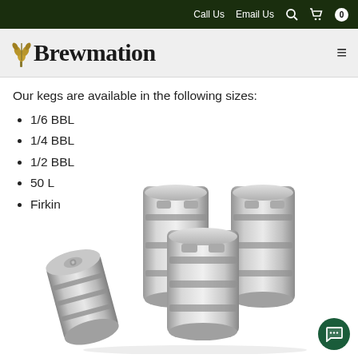Call Us   Email Us   🔍   🛒   0
Brewmation
Our kegs are available in the following sizes:
1/6 BBL
1/4 BBL
1/2 BBL
50 L
Firkin
[Figure (photo): Group of stainless steel beer kegs of various sizes arranged together, including upright kegs and one keg lying on its side in the foreground]